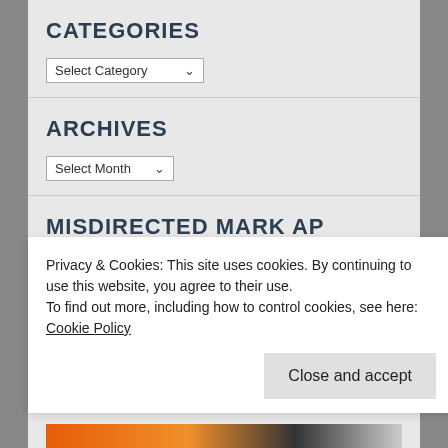CATEGORIES
Select Category
ARCHIVES
Select Month
MISDIRECTED MARK AP
[Figure (illustration): Yellow/orange background with a black M logo on white rounded rectangle badge]
Privacy & Cookies: This site uses cookies. By continuing to use this website, you agree to their use.
To find out more, including how to control cookies, see here: Cookie Policy
Close and accept